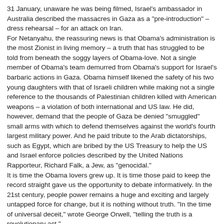31 January, unaware he was being filmed, Israel's ambassador in Australia described the massacres in Gaza as a "pre-introduction" – dress rehearsal – for an attack on Iran.
For Netanyahu, the reassuring news is that Obama's administration is the most Zionist in living memory – a truth that has struggled to be told from beneath the soggy layers of Obama-love. Not a single member of Obama's team demurred from Obama's support for Israel's barbaric actions in Gaza. Obama himself likened the safety of his two young daughters with that of Israeli children while making not a single reference to the thousands of Palestinian children killed with American weapons – a violation of both international and US law. He did, however, demand that the people of Gaza be denied "smuggled" small arms with which to defend themselves against the world's fourth largest military power. And he paid tribute to the Arab dictatorships, such as Egypt, which are bribed by the US Treasury to help the US and Israel enforce policies described by the United Nations Rapporteur, Richard Falk, a Jew, as "genocidal."
It is time the Obama lovers grew up. It is time those paid to keep the record straight gave us the opportunity to debate informatively. In the 21st century, people power remains a huge and exciting and largely untapped force for change, but it is nothing without truth. "In the time of universal deceit," wrote George Orwell, "telling the truth is a revolutionary act."
Come On Down for Your Freedom Medals
Posted Thu Jan 22, 2009